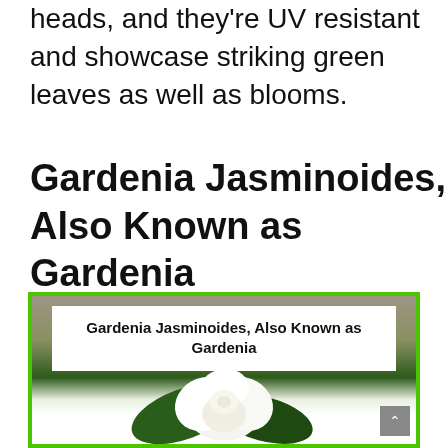heads, and they're UV resistant and showcase striking green leaves as well as blooms.
Gardenia Jasminoides, Also Known as Gardenia
[Figure (photo): Photo of a white gardenia flower with dark green leaves, with an overlay white box containing the text 'Gardenia Jasminoides, Also Known as Gardenia'. Image has a green border.]